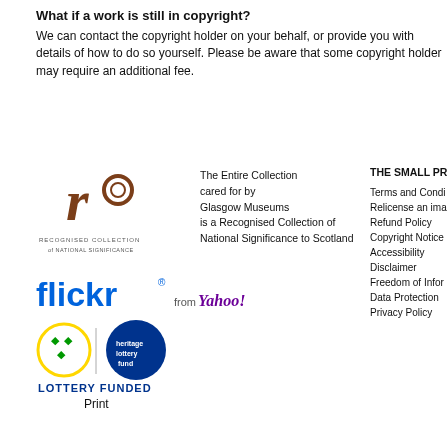What if a work is still in copyright?
We can contact the copyright holder on your behalf, or provide you with details of how to do so yourself. Please be aware that some copyright holder may require an additional fee.
[Figure (logo): Recognised Collection of National Significance logo - brown decorative letter R with circle]
The Entire Collection cared for by Glasgow Museums is a Recognised Collection of National Significance to Scotland
THE SMALL PRI
Terms and Condi
Relicense an ima
Refund Policy
Copyright Notice
Accessibility
Disclaimer
Freedom of Infor
Data Protection
Privacy Policy
[Figure (logo): Flickr from Yahoo! logo - blue text flickr with registered mark, from Yahoo! in purple]
[Figure (logo): Heritage Lottery Fund - Lottery Funded logo with National Lottery lotto balls symbol and heritage lottery fund text in blue circle]
Print